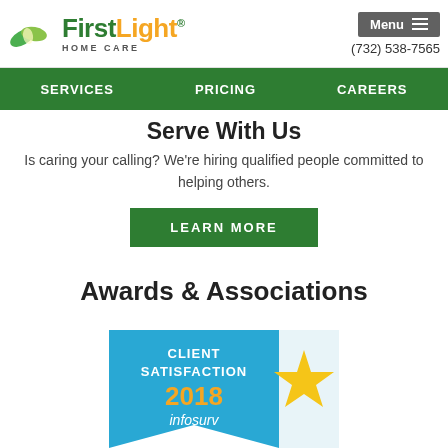[Figure (logo): FirstLight Home Care logo with green leaf icon, green and orange text, and HOME CARE subtitle]
Menu ≡
(732) 538-7565
SERVICES    PRICING    CAREERS
Serve With Us
Is caring your calling? We're hiring qualified people committed to helping others.
LEARN MORE
Awards & Associations
[Figure (other): Client Satisfaction 2018 infosurv award badge with blue ribbon/banner design and gold star]